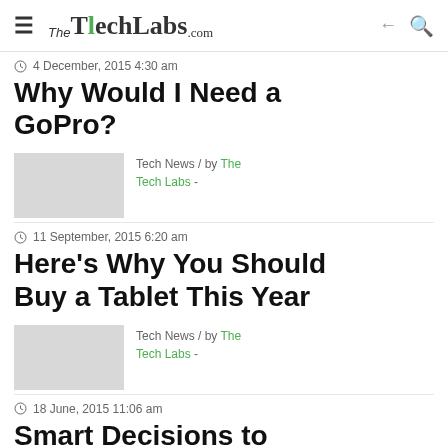≡ TheTechLabs.com ← 🔍
4 December, 2015 4:30 am
Why Would I Need a GoPro?
Tech News / by The Tech Labs -
11 September, 2015 6:20 am
Here's Why You Should Buy a Tablet This Year
Tech News / by The Tech Labs -
18 June, 2015 11:06 am
Smart Decisions to Secure Your Apple Device